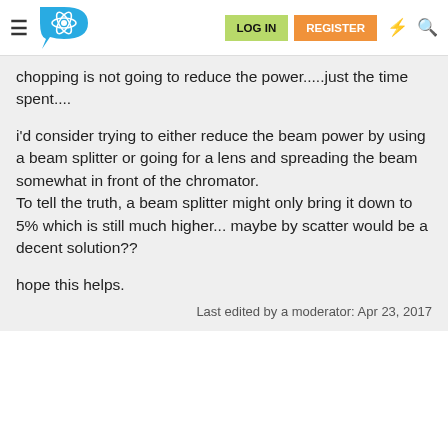LOG IN  REGISTER
chopping is not going to reduce the power.....just the time spent....
i'd consider trying to either reduce the beam power by using a beam splitter or going for a lens and spreading the beam somewhat in front of the chromator.
To tell the truth, a beam splitter might only bring it down to 5% which is still much higher... maybe by scatter would be a decent solution??
hope this helps.
Last edited by a moderator: Apr 23, 2017